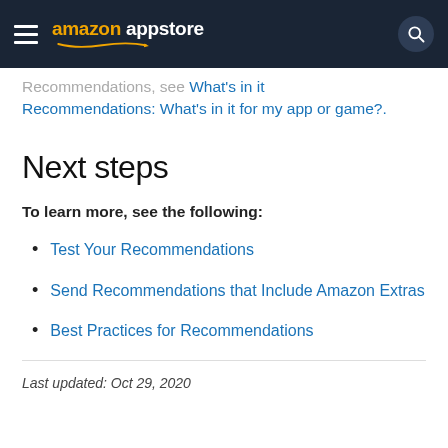amazon appstore
Recommendations, see What's in it Recommendations: What's in it for my app or game?.
Next steps
To learn more, see the following:
Test Your Recommendations
Send Recommendations that Include Amazon Extras
Best Practices for Recommendations
Last updated: Oct 29, 2020